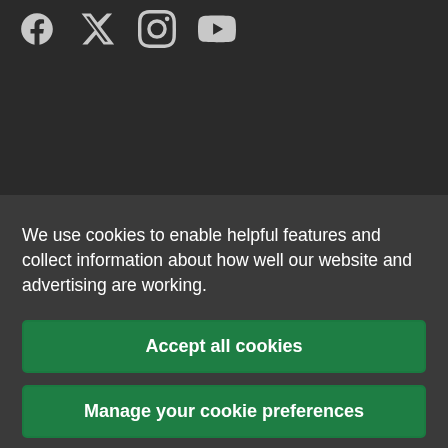[Figure (illustration): Social media icons: Facebook, Twitter (X), Instagram, YouTube in light gray on dark background]
We use cookies to enable helpful features and collect information about how well our website and advertising are working.
Accept all cookies
Manage your cookie preferences